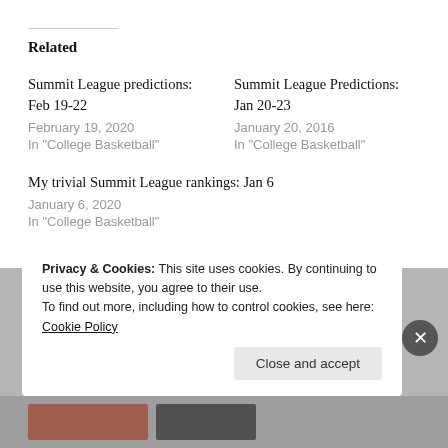Related
Summit League predictions: Feb 19-22
February 19, 2020
In "College Basketball"
Summit League Predictions: Jan 20-23
January 20, 2016
In "College Basketball"
My trivial Summit League rankings: Jan 6
January 6, 2020
In "College Basketball"
Privacy & Cookies: This site uses cookies. By continuing to use this website, you agree to their use.
To find out more, including how to control cookies, see here: Cookie Policy
Close and accept